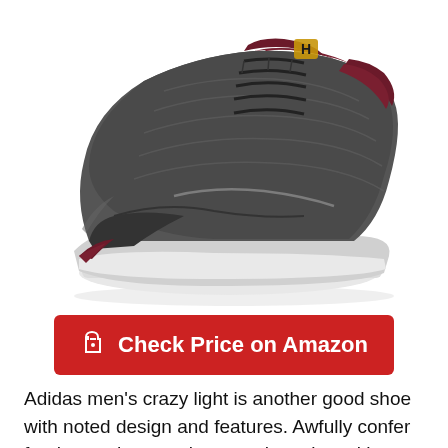[Figure (photo): Adidas men's crazy light basketball shoe in dark grey/charcoal color with maroon accents, white sole, and gold logo, shown at an angle on white background]
Check Price on Amazon
Adidas men's crazy light is another good shoe with noted design and features. Awfully confer for those who want low-top shoes but with suitable